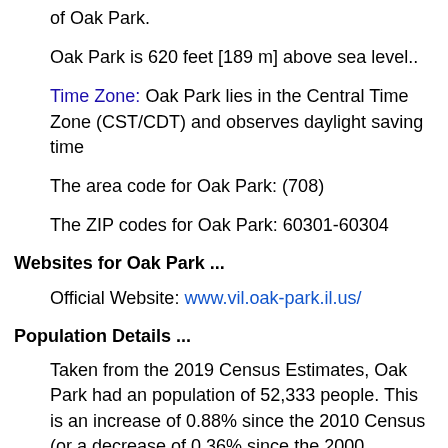of Oak Park.
Oak Park is 620 feet [189 m] above sea level..
Time Zone: Oak Park lies in the Central Time Zone (CST/CDT) and observes daylight saving time
The area code for Oak Park: (708)
The ZIP codes for Oak Park: 60301-60304
Websites for Oak Park ...
Official Website: www.vil.oak-park.il.us/
Population Details ...
Taken from the 2019 Census Estimates, Oak Park had an population of 52,333 people. This is an increase of 0.88% since the 2010 Census (or a decrease of 0.36% since the 2000 Census).
At the time of the 2010 Census, Oak Park had a